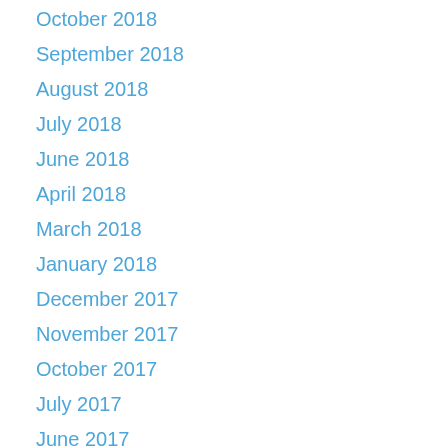October 2018
September 2018
August 2018
July 2018
June 2018
April 2018
March 2018
January 2018
December 2017
November 2017
October 2017
July 2017
June 2017
May 2017
March 2017
December 2016
November 2016
October 2016
September 2016
August 2016